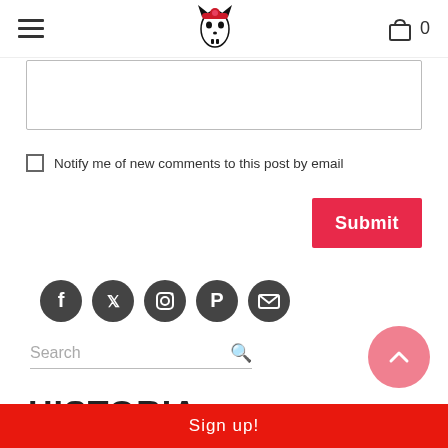Navigation header with hamburger menu, logo, and cart icon showing 0
Text area input field (partially visible)
Notify me of new comments to this post by email
Submit
[Figure (infographic): Row of 5 circular social media icons: Facebook, Twitter, Instagram, Pinterest, Email]
Search
HISTORIA (partially visible footer heading)
Sign up!